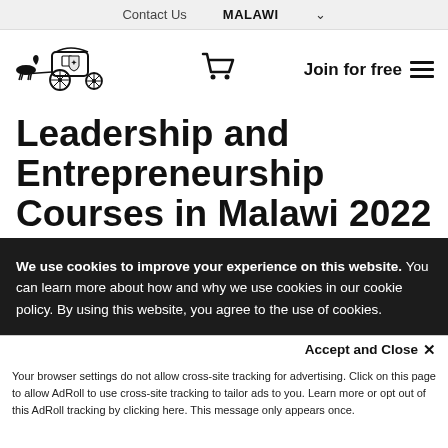Contact Us   MALAWI ˅
[Figure (logo): Horse-drawn carriage logo (dark ink illustration)]
Join for free ≡
Leadership and Entrepreneurship Courses in Malawi 2022
We use cookies to improve your experience on this website. You can learn more about how and why we use cookies in our cookie policy. By using this website, you agree to the use of cookies.
Accept and Close ✕
Your browser settings do not allow cross-site tracking for advertising. Click on this page to allow AdRoll to use cross-site tracking to tailor ads to you. Learn more or opt out of this AdRoll tracking by clicking here. This message only appears once.